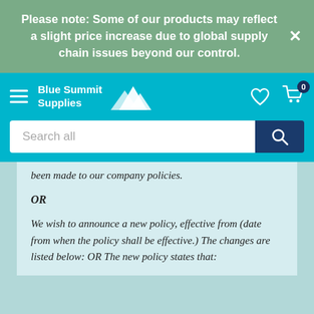Please note: Some of our products may reflect a slight price increase due to global supply chain issues beyond our control.
[Figure (screenshot): Blue Summit Supplies navigation header with hamburger menu, logo, heart icon, and cart icon with badge showing 0]
Search all
been made to our company policies.
OR
We wish to announce a new policy, effective from (date from when the policy shall be effective.) The changes are listed below: OR The new policy states that: